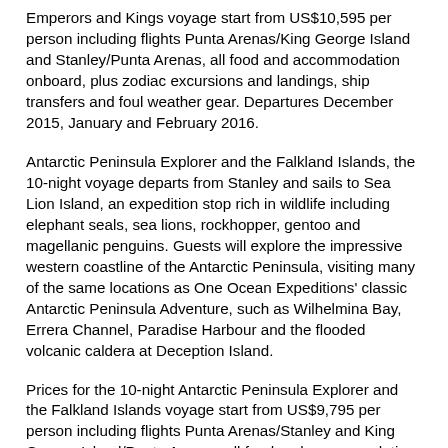Emperors and Kings voyage start from US$10,595 per person including flights Punta Arenas/King George Island and Stanley/Punta Arenas, all food and accommodation onboard, plus zodiac excursions and landings, ship transfers and foul weather gear. Departures December 2015, January and February 2016.
Antarctic Peninsula Explorer and the Falkland Islands, the 10-night voyage departs from Stanley and sails to Sea Lion Island, an expedition stop rich in wildlife including elephant seals, sea lions, rockhopper, gentoo and magellanic penguins. Guests will explore the impressive western coastline of the Antarctic Peninsula, visiting many of the same locations as One Ocean Expeditions' classic Antarctic Peninsula Adventure, such as Wilhelmina Bay, Errera Channel, Paradise Harbour and the flooded volcanic caldera at Deception Island.
Prices for the 10-night Antarctic Peninsula Explorer and the Falkland Islands voyage start from US$9,795 per person including flights Punta Arenas/Stanley and King George Island/Punta Arenas, all food and accommodation onboard